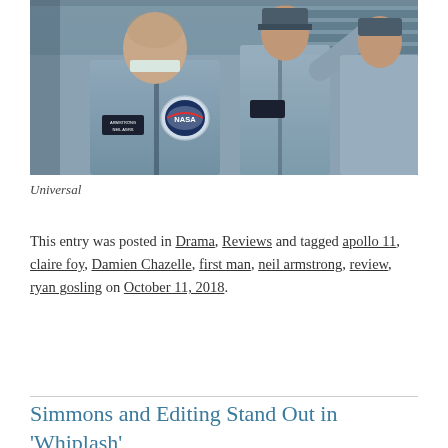[Figure (photo): A scene from a film showing several men in blue NASA flight suits, the foreground figure prominently displaying a NASA patch on his chest, standing in front of what appears to be a staircase or industrial background.]
Universal
This entry was posted in Drama, Reviews and tagged apollo 11, claire foy, Damien Chazelle, first man, neil armstrong, review, ryan gosling on October 11, 2018.
Simmons and Editing Stand Out in 'Whiplash'